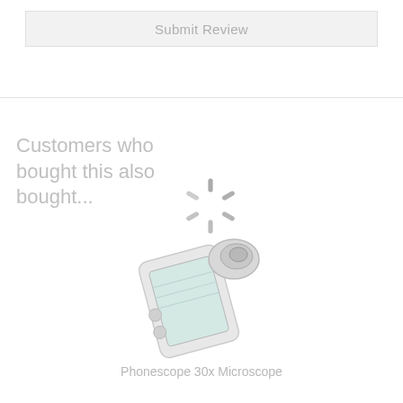[Figure (screenshot): Submit Review button area — a light grey rectangular button with the text 'Submit Review' centered in muted grey color]
Customers who bought this also bought...
[Figure (illustration): A loading spinner (radial lines in grey indicating loading state)]
[Figure (photo): Product photo of a Phonescope 30x Microscope attachment for a smartphone, shown at an angle with a blue-tinted screen]
Phonescope 30x Microscope